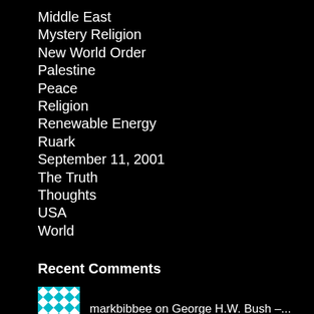Middle East
Mystery Religion
New World Order
Palestine
Peace
Religion
Renewable Energy
Ruark
September 11, 2001
The Truth
Thoughts
USA
World
Recent Comments
markbibbee on George H.W. Bush –...